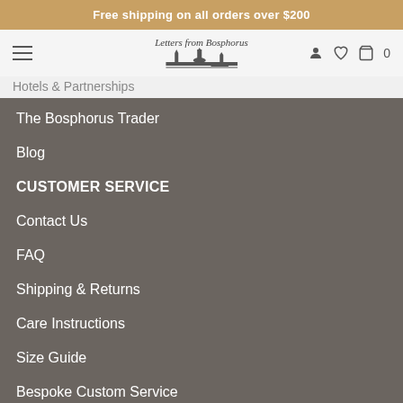Free shipping on all orders over $200
[Figure (logo): Letters from Bosphorus logo with cursive text and Istanbul skyline silhouette]
Hotels & Partnerships
The Bosphorus Trader
Blog
CUSTOMER SERVICE
Contact Us
FAQ
Shipping & Returns
Care Instructions
Size Guide
Bespoke Custom Service
SIGN UP
info@lettersfb.com